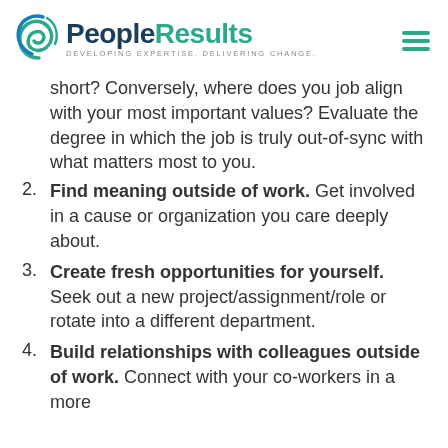PeopleResults — DEVELOPING EXPERTISE. DELIVERING CHANGE.
short? Conversely, where does you job align with your most important values? Evaluate the degree in which the job is truly out-of-sync with what matters most to you.
2. Find meaning outside of work. Get involved in a cause or organization you care deeply about.
3. Create fresh opportunities for yourself. Seek out a new project/assignment/role or rotate into a different department.
4. Build relationships with colleagues outside of work. Connect with your co-workers in a more